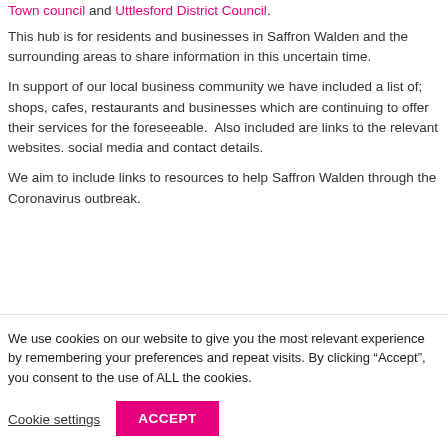Town Council and Uttlesford District Council.
This hub is for residents and businesses in Saffron Walden and the surrounding areas to share information in this uncertain time.
In support of our local business community we have included a list of; shops, cafes, restaurants and businesses which are continuing to offer their services for the foreseeable.  Also included are links to the relevant websites. social media and contact details.
We aim to include links to resources to help Saffron Walden through the Coronavirus outbreak.
We use cookies on our website to give you the most relevant experience by remembering your preferences and repeat visits. By clicking “Accept”, you consent to the use of ALL the cookies.
Cookie settings
ACCEPT